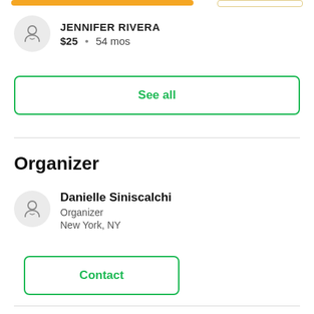JENNIFER RIVERA $25 • 54 mos
See all
Organizer
Danielle Siniscalchi
Organizer
New York, NY
Contact